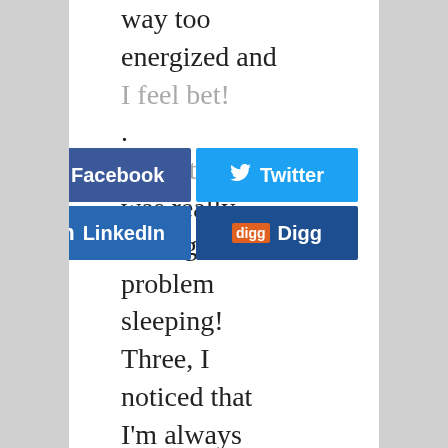way too energized and I feel bet... using this, I was really having a problem sleeping! Three, I noticed that I'm always "jumpy", I jump at every sudden sounds i
[Figure (screenshot): Social media sharing buttons: Facebook (blue), Twitter (light blue), LinkedIn (dark blue), Digg (dark blue)]